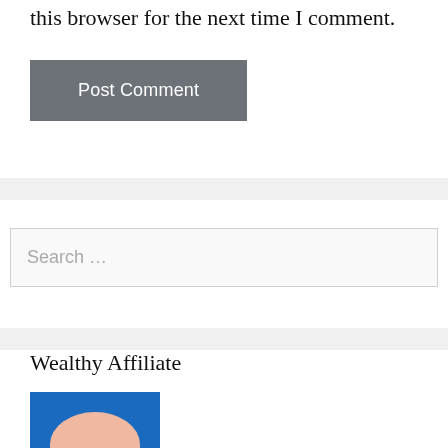this browser for the next time I comment.
[Figure (screenshot): Post Comment button — gray rectangular button with white text]
[Figure (screenshot): Search input field with placeholder text 'Search …']
Wealthy Affiliate
[Figure (illustration): Partial view of a blue banner image with a pink/peach illustrated face or character at the bottom]